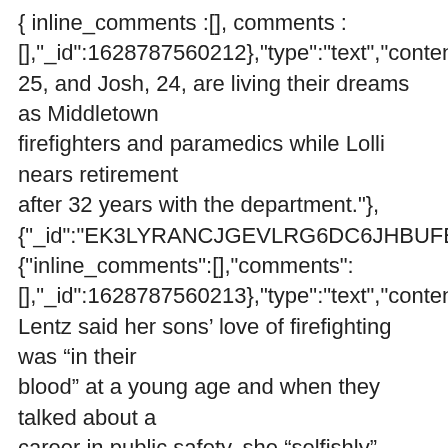{ inline_comments :[], comments : [],'_id':1628787560212},"type":"text","content":"Jacob, 25, and Josh, 24, are living their dreams as Middletown firefighters and paramedics while Lolli nears retirement after 32 years with the department."}, {"_id":"EK3LYRANCJGEVLRG6DC6JHBUFE","additional_p {"inline_comments":[],"comments": [],'_id':1628787560213},"type":"text","content":"Tricia Lentz said her sons’ love of firefighting was “in their blood” at a young age and when they talked about a career in public safety, she “selfishly” prayed for a safer profession."}, {"_id":"OXPXQT7YURECJON3LRP436FH3A","additional_p {"inline_comments":[],"comments": [],'_id':1628787560214},"type":"text","content":"“My heart sank at first,” she said when asked her reaction.